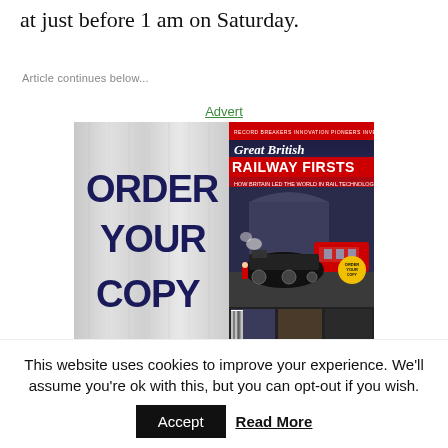at just before 1 am on Saturday.
Article continues below...
Advert
[Figure (illustration): Advertisement for 'Great British Railway Firsts' magazine. Left side shows bold dark blue text 'ORDER YOUR COPY' on a silver brushed metal background. Right side shows the magazine cover featuring a steam locomotive at a station, with text 'Great British RAILWAY FIRSTS', 'HOW BRITAIN LED THE WORLD IN RAIL TECHNOLOGY', 'LANDMARKS IN RAIL HISTORY AND HERITAGE'. Bottom strip shows additional smaller railway photographs.]
This website uses cookies to improve your experience. We'll assume you're ok with this, but you can opt-out if you wish.
Accept
Read More